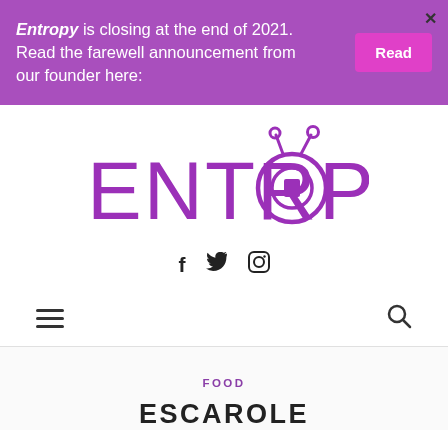Entropy is closing at the end of 2021. Read the farewell announcement from our founder here:
[Figure (logo): Entropy magazine logo in purple with stylized letter O containing a pencil icon and antenna-like elements above]
[Figure (infographic): Social media icons: Facebook (f), Twitter (bird), Instagram (camera)]
[Figure (infographic): Navigation bar with hamburger menu icon on left and search icon on right]
FOOD
ESCAROLE